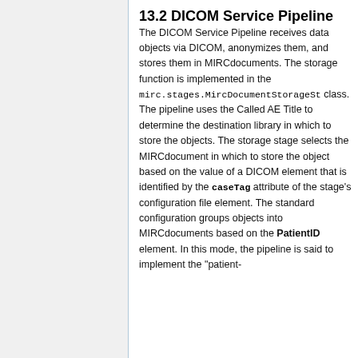13.2 DICOM Service Pipeline
The DICOM Service Pipeline receives data objects via DICOM, anonymizes them, and stores them in MIRCdocuments. The storage function is implemented in the mirc.stages.MircDocumentStorageS class. The pipeline uses the Called AE Title to determine the destination library in which to store the objects. The storage stage selects the MIRCdocument in which to store the object based on the value of a DICOM element that is identified by the caseTag attribute of the stage's configuration file element. The standard configuration groups objects into MIRCdocuments based on the PatientID element. In this mode, the pipeline is said to implement the "patient-